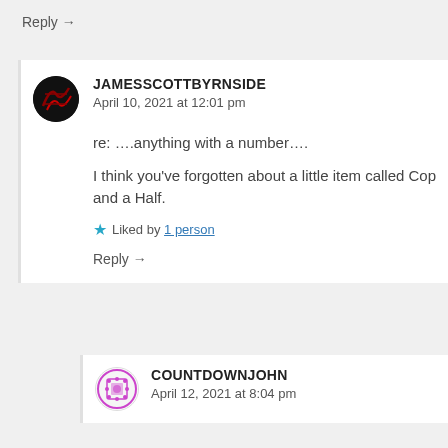Reply →
JAMESSCOTTBYRNSIDE
April 10, 2021 at 12:01 pm

re: ….anything with a number….

I think you've forgotten about a little item called Cop and a Half.

★ Liked by 1 person

Reply →
COUNTDOWNJOHN
April 12, 2021 at 8:04 pm